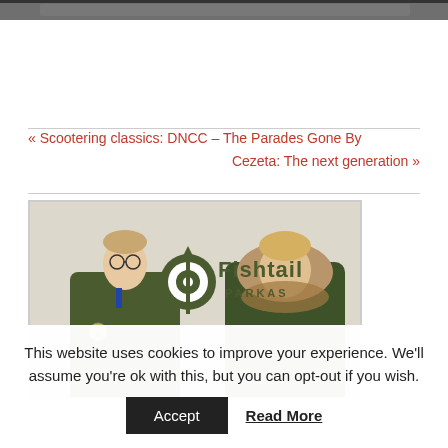[Figure (photo): Top portion of a photo partially cropped at the top of the page — appears to show a vintage scooter or vehicle scene]
« Scootering classics: DNCC – The Parades Gone By
Cezeta: The next generation »
[Figure (photo): Fishtail Parkas advertisement image showing two young men wearing green military-style parkas. Left figure wears glasses and a slimmer parka with a badge; right figure wears a heavier parka with fur-trimmed hood. The Fishtail Parkas logo with a target/bullseye icon appears in the center-upper area of the image.]
This website uses cookies to improve your experience. We'll assume you're ok with this, but you can opt-out if you wish.
Accept
Read More